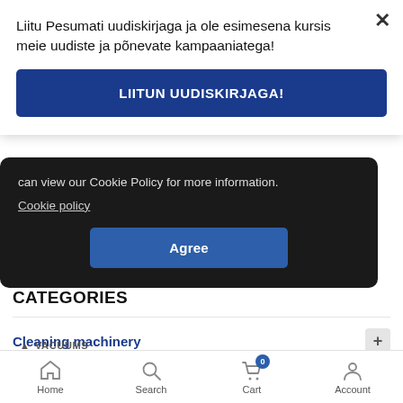Liitu Pesumati uudiskirjaga ja ole esimesena kursis meie uudiste ja põnevate kampaaniatega!
LIITUN UUDISKIRJAGA!
can view our Cookie Policy for more information. Cookie policy
Agree
CATEGORIES
Cleaning machinery
WINDOW WASHING
VACUUMS
Home  Search  Cart  Account